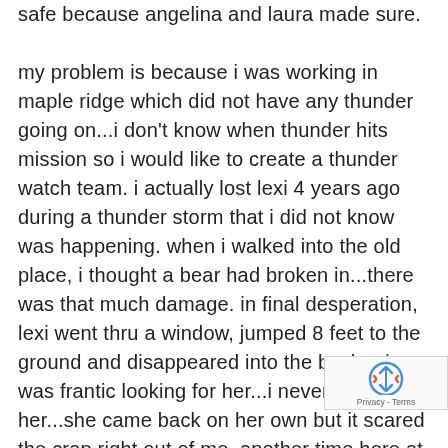safe because angelina and laura made sure.

my problem is because i was working in maple ridge which did not have any thunder going on...i don't know when thunder hits mission so i would like to create a thunder watch team. i actually lost lexi 4 years ago during a thunder storm that i did not know was happening. when i walked into the old place, i thought a bear had broken in...there was that much damage. in final desperation, lexi went thru a window, jumped 8 feet to the ground and disappeared into the bush....i was frantic looking for her...i never did find her...she came back on her own but it scared the crap right out of me. another time here at the new place, she ate thru the thick dog wire on the kitchen door...in her panic, she cut her mouth to ribbons. maude and cole have eaten thru walls, right to the
[Figure (logo): reCAPTCHA badge with rotating arrows icon and Privacy - Terms text]